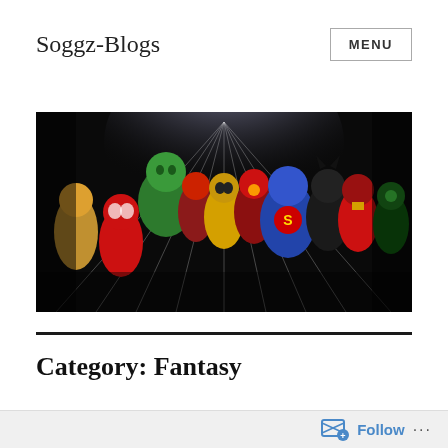Soggz-Blogs
MENU
[Figure (illustration): A comic-book style illustration showing a large group of superheroes seated/standing together in a dark setting with dramatic rays of light behind them. Characters include recognizable superhero archetypes: a green hulk-like figure, spider-man in red/blue, wolverine in yellow, iron man, superman in blue with red S logo, batman, wonder woman, green lantern, thor, and others. Background is dark/black with white light rays emanating from the top center.]
Category: Fantasy
Follow ...